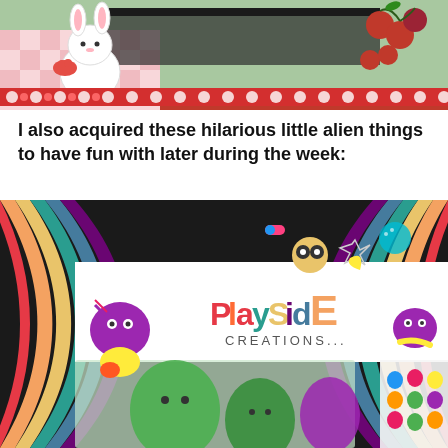[Figure (photo): Top decorative image with a cute cartoon white bunny holding strawberries on a pink checkered background, with cherries and decorative border at bottom]
I also acquired these hilarious little alien things to have fun with later during the week:
[Figure (photo): Photo of a PlaySide Creations Class Room Pack toy set showing small alien figurines in packaging, with rainbow background decoration and cartoon alien stickers, price tag shows $4. Green and purple alien toys visible inside clear packaging.]